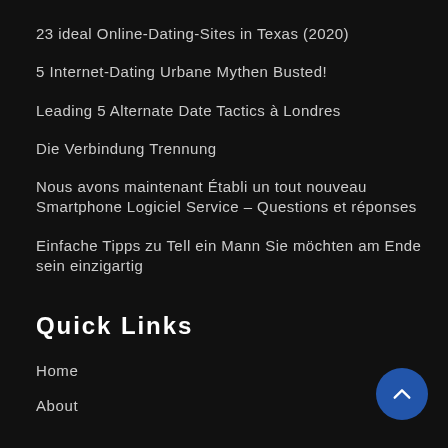23 ideal Online-Dating-Sites in Texas (2020)
5 Internet-Dating Urbane Mythen Busted!
Leading 5 Alternate Date Tactics à Londres
Die Verbindung Trennung
Nous avons maintenant Établi un tout nouveau Smartphone Logiciel Service – Questions et réponses
Einfache Tipps zu Tell ein Mann Sie möchten am Ende sein einzigartig
Quick Links
Home
About